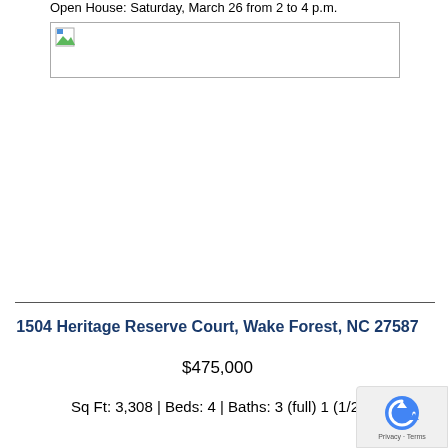Open House: Saturday, March 26 from 2 to 4 p.m.
[Figure (photo): Broken/placeholder image for property photo]
1504 Heritage Reserve Court, Wake Forest, NC 27587
$475,000
Sq Ft: 3,308 | Beds: 4 | Baths: 3 (full) 1 (1/2)